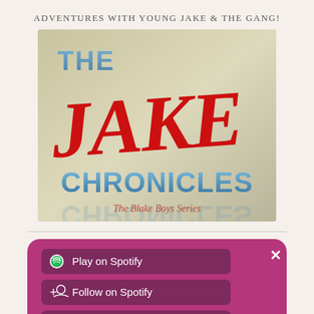ADVENTURES WITH YOUNG JAKE & THE GANG!
[Figure (illustration): Book cover for 'The Jake Chronicles' from The Blake Boys Series. Tan/beige gradient background. 'THE' in blue at top left, 'JAKE' in large red hand-drawn script in the center, 'CHRONICLES' in blue 3D text at the bottom, 'The Blake Boys Series' in red-orange italic text below.]
[Figure (screenshot): Spotify share/action panel with purple-pink background showing three buttons: 'Play on Spotify' (with Spotify circle logo), 'Follow on Spotify' (with follow/person icon), and 'Copy link to clipboard' (with share icon). An X close button appears in the top right. Partially visible footer text at the bottom.]